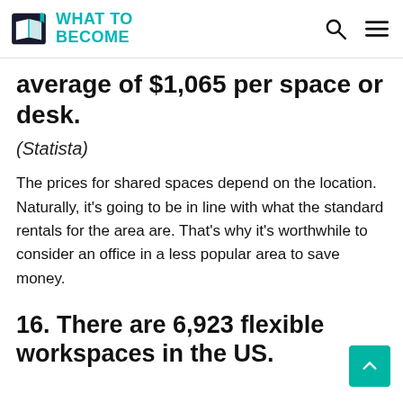WHAT TO BECOME
average of $1,065 per space or desk.
(Statista)
The prices for shared spaces depend on the location. Naturally, it’s going to be in line with what the standard rentals for the area are. That’s why it’s worthwhile to consider an office in a less popular area to save money.
16. There are 6,923 flexible workspaces in the US.